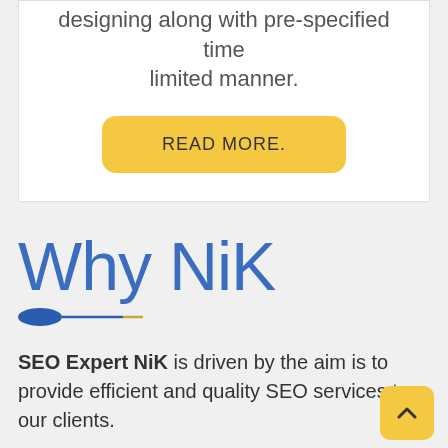designing along with pre-specified time limited manner.
READ MORE.
Why NiK
SEO Expert NiK is driven by the aim is to provide efficient and quality SEO services to our clients.
We provide customized marketing campaigns focusing on the targeted audience. We'll execute